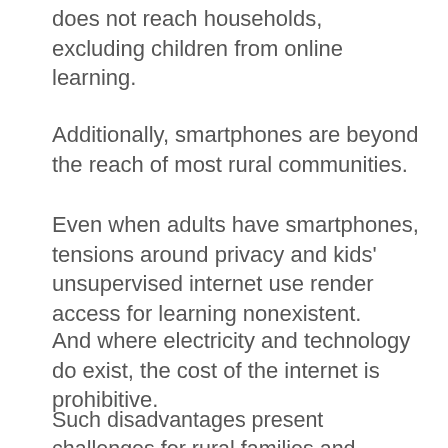does not reach households, excluding children from online learning.
Additionally, smartphones are beyond the reach of most rural communities.
Even when adults have smartphones, tensions around privacy and kids' unsupervised internet use render access for learning nonexistent.
And where electricity and technology do exist, the cost of the internet is prohibitive.
Such disadvantages present challenges for rural families and learners who must compete with their more privileged peers during national examinations.